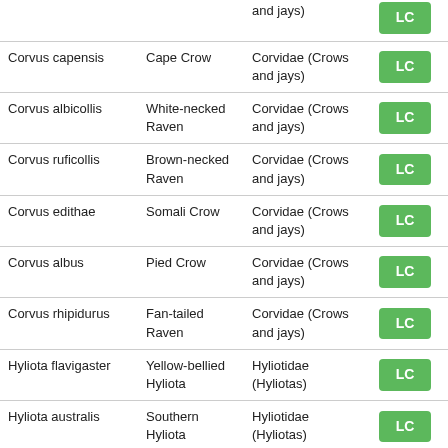| Scientific Name | Common Name | Family | Status |
| --- | --- | --- | --- |
| (and jays) | (and jays continued) | Corvidae (Crows and jays) | LC |
| Corvus capensis | Cape Crow | Corvidae (Crows and jays) | LC |
| Corvus albicollis | White-necked Raven | Corvidae (Crows and jays) | LC |
| Corvus ruficollis | Brown-necked Raven | Corvidae (Crows and jays) | LC |
| Corvus edithae | Somali Crow | Corvidae (Crows and jays) | LC |
| Corvus albus | Pied Crow | Corvidae (Crows and jays) | LC |
| Corvus rhipidurus | Fan-tailed Raven | Corvidae (Crows and jays) | LC |
| Hyliota flavigaster | Yellow-bellied Hyliota | Hyliotidae (Hyliotas) | LC |
| Hyliota australis | Southern Hyliota | Hyliotidae (Hyliotas) | LC |
| Elminia | Dusky | Stenostirida | LC |